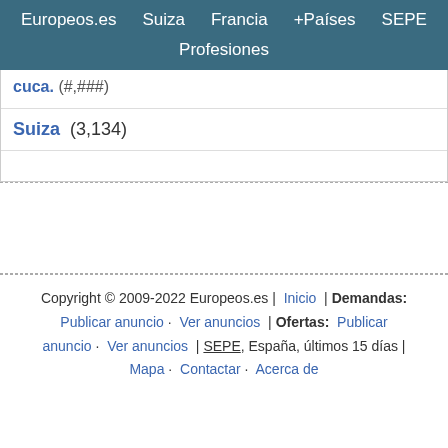Europeos.es  Suiza  Francia  +Países  SEPE  Profesiones
Suiza  (3,134)
Copyright © 2009-2022 Europeos.es |  Inicio  | Demandas: Publicar anuncio · Ver anuncios | Ofertas: Publicar anuncio · Ver anuncios | SEPE, España, últimos 15 días | Mapa · Contactar · Acerca de